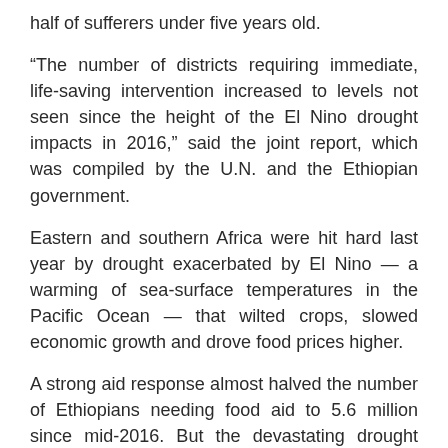half of sufferers under five years old.
“The number of districts requiring immediate, life-saving intervention increased to levels not seen since the height of the El Nino drought impacts in 2016,” said the joint report, which was compiled by the U.N. and the Ethiopian government.
Eastern and southern Africa were hit hard last year by drought exacerbated by El Nino — a warming of sea-surface temperatures in the Pacific Ocean — that wilted crops, slowed economic growth and drove food prices higher.
A strong aid response almost halved the number of Ethiopians needing food aid to 5.6 million since mid-2016. But the devastating drought was followed by poor spring rains this year in the southern and eastern parts of the country.